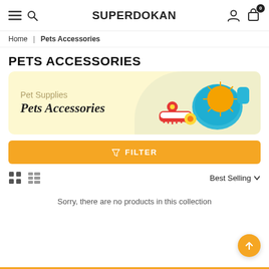SUPERDOKAN
Home | Pets Accessories
PETS ACCESSORIES
[Figure (illustration): Pet Accessories promotional banner with text 'Pet Supplies / Pets Accessories' on a yellow background and pet grooming products photo on the right]
FILTER
Best Selling
Sorry, there are no products in this collection